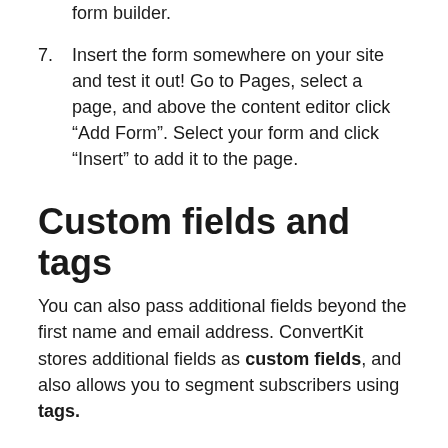form builder.
7. Insert the form somewhere on your site and test it out! Go to Pages, select a page, and above the content editor click “Add Form”. Select your form and click “Insert” to add it to the page.
Custom fields and tags
You can also pass additional fields beyond the first name and email address. ConvertKit stores additional fields as custom fields, and also allows you to segment subscribers using tags.
When editing a field in WPForms, open the Advanced tab and give it a CSS class of “ck-custom-yourcustomfield” where yourcustomfield is the name of your custom field.
In the screenshot below, we’re including the value of the